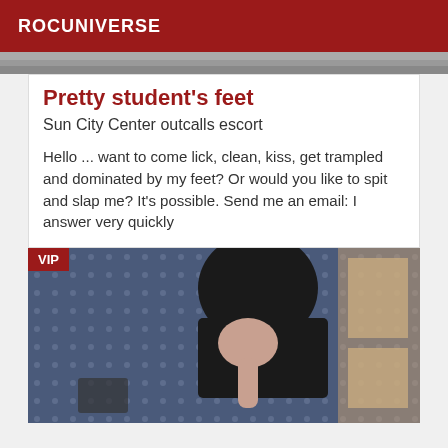ROCUNIVERSE
[Figure (photo): Partial top strip of a photo, gray tones]
Pretty student's feet
Sun City Center outcalls escort
Hello ... want to come lick, clean, kiss, get trampled and dominated by my feet? Or would you like to spit and slap me? It's possible. Send me an email: I answer very quickly
[Figure (photo): Person with dark hair leaning forward on a polka-dot fabric surface, VIP badge in top-left corner]